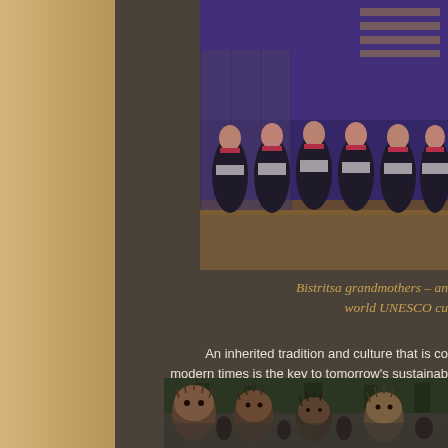[Figure (photo): Bistritsa grandmothers performing on stage in traditional Bulgarian folk costumes — black dresses with red and white embroidery — under purple stage lighting]
Bistritsa grandmothers – an world UNESCO cu
An inherited tradition and culture that is co modern times is the key to tomorrow's sustainab diverse, so is the intangible cultural heritage geographical environment of its origin and deve and peoples –
[Figure (photo): Crowd scene with people wearing large animal fur masks/costumes at a traditional Bulgarian folk festival]